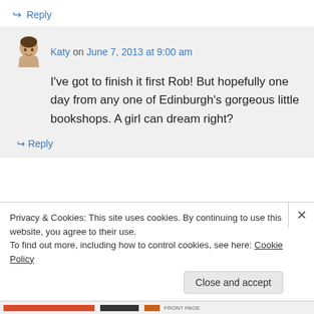↳ Reply
Katy on June 7, 2013 at 9:00 am
I've got to finish it first Rob! But hopefully one day from any one of Edinburgh's gorgeous little bookshops. A girl can dream right?
↳ Reply
Privacy & Cookies: This site uses cookies. By continuing to use this website, you agree to their use.
To find out more, including how to control cookies, see here: Cookie Policy
Close and accept